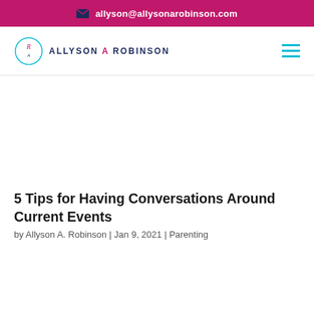allyson@allysonarobinson.com
[Figure (logo): Allyson A Robinson logo with circular R monogram and text ALLYSON A ROBINSON]
5 Tips for Having Conversations Around Current Events
by Allyson A. Robinson | Jan 9, 2021 | Parenting